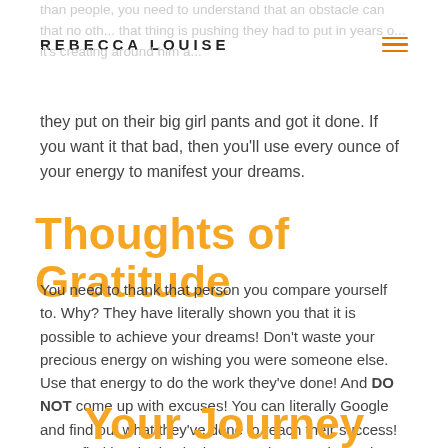REBECCA LOUISE
they put on their big girl pants and got it done. If you want it that bad, then you'll use every ounce of your energy to manifest your dreams.
Thoughts of Gratitude
You need to thank that person you compare yourself to. Why? They have literally shown you that it is possible to achieve your dreams! Don't waste your precious energy on wishing you were someone else. Use that energy to do the work they've done! And DO NOT come up with excuses! You can literally Google and find out what they've done to reach their success! Try to find inspiration in the steps they've taken & know that can be you one day.
Your Journey